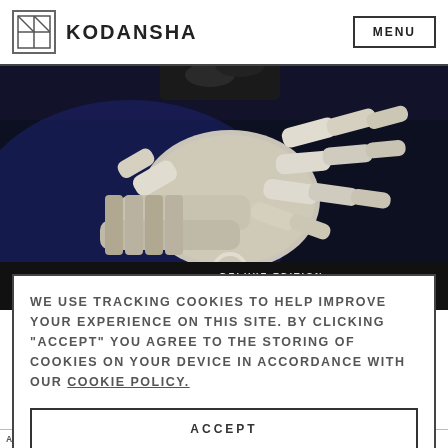KODANSHA  MENU
[Figure (illustration): Close-up illustration of a robotic/cybernetic arm with detailed mechanical joints and bone-like white segments against a dark blue background. Cover art for 'Battle Angel Alita Deluxe Edition Vol. 1' by Yukito Kishiro.]
WE USE TRACKING COOKIES TO HELP IMPROVE YOUR EXPERIENCE ON THIS SITE. BY CLICKING “ACCEPT” YOU AGREE TO THE STORING OF COOKIES ON YOUR DEVICE IN ACCORDANCE WITH OUR COOKIE POLICY.
ACCEPT
MANAGE COOKIES
A FRAGMENT OF ALITA'S MYSTERIOUS PAST